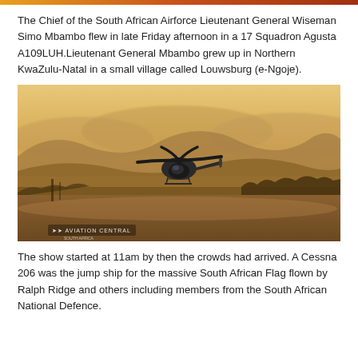The Chief of the South African Airforce Lieutenant General Wiseman Simo Mbambo flew in late Friday afternoon in a 17 Squadron Agusta A109LUH.Lieutenant General Mbambo grew up in Northern KwaZulu-Natal in a small village called Louwsburg (e-Ngoje).
[Figure (photo): A military helicopter (Agusta A109LUH) hovering low above a runway at sunset/dusk with mountains in the background. The scene is bathed in warm golden-amber light. An Aviation Central watermark appears in the lower left corner.]
The show started at 11am by then the crowds had arrived. A Cessna 206 was the jump ship for the massive South African Flag flown by Ralph Ridge and others including members from the South African National Defence.